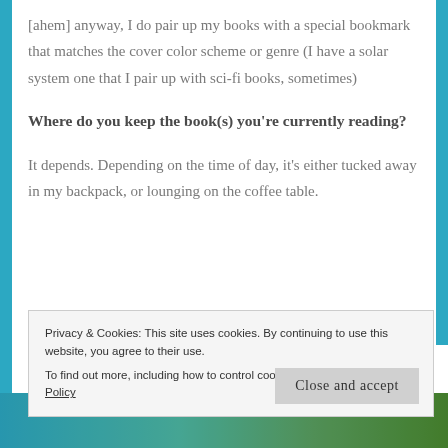[ahem] anyway, I do pair up my books with a special bookmark that matches the cover color scheme or genre (I have a solar system one that I pair up with sci-fi books, sometimes)
Where do you keep the book(s) you're currently reading?
It depends. Depending on the time of day, it's either tucked away in my backpack, or lounging on the coffee table.
Privacy & Cookies: This site uses cookies. By continuing to use this website, you agree to their use.
To find out more, including how to control cookies, see here: Cookie Policy
[Figure (photo): Bottom strip showing a person outdoors with green background]